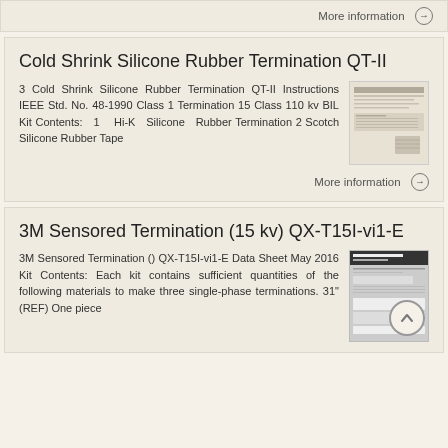More information →
Cold Shrink Silicone Rubber Termination QT-II
3 Cold Shrink Silicone Rubber Termination QT-II Instructions IEEE Std. No. 48-1990 Class 1 Termination 15 Class 110 kv BIL Kit Contents: 1 Hi-K Silicone Rubber Termination 2 Scotch Silicone Rubber Tape
[Figure (photo): Thumbnail image of Cold Shrink Silicone Rubber Termination QT-II document]
More information →
3M Sensored Termination (15 kv) QX-T15I-vi1-E
3M Sensored Termination () QX-T15I-vi1-E Data Sheet May 2016 Kit Contents: Each kit contains sufficient quantities of the following materials to make three single-phase terminations. 31" (REF) One piece
[Figure (photo): Thumbnail image of 3M Sensored Termination data sheet]